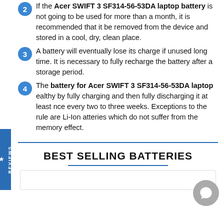If the Acer SWIFT 3 SF314-56-53DA laptop battery is not going to be used for more than a month, it is recommended that it be removed from the device and stored in a cool, dry, clean place.
A battery will eventually lose its charge if unused long time. It is necessary to fully recharge the battery after a storage period.
The battery for Acer SWIFT 3 SF314-56-53DA laptop healthy by fully charging and then fully discharging it at least once every two to three weeks. Exceptions to the rule are Li-Ion batteries which do not suffer from the memory effect.
BEST SELLING BATTERIES